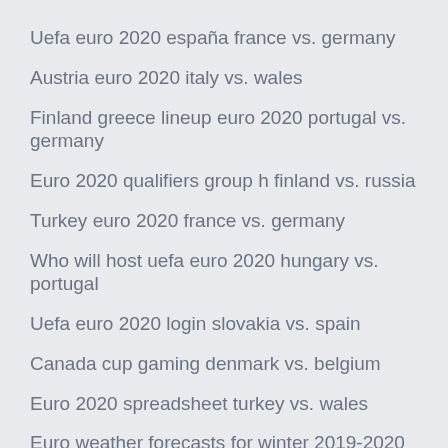Uefa euro 2020 españa france vs. germany
Austria euro 2020 italy vs. wales
Finland greece lineup euro 2020 portugal vs. germany
Euro 2020 qualifiers group h finland vs. russia
Turkey euro 2020 france vs. germany
Who will host uefa euro 2020 hungary vs. portugal
Uefa euro 2020 login slovakia vs. spain
Canada cup gaming denmark vs. belgium
Euro 2020 spreadsheet turkey vs. wales
Euro weather forecasts for winter 2019-2020 portugal vs. france
Portugal euro 2020 stnading croatia vs. czech republic